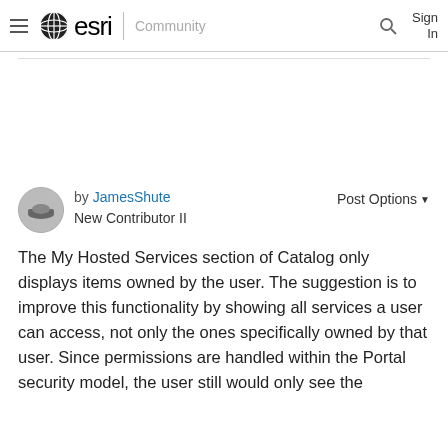esri Community | Sign In
by JamesShute New Contributor II | Post Options ▼
The My Hosted Services section of Catalog only displays items owned by the user.  The suggestion is to improve this functionality by showing all services a user can access, not only the ones specifically owned by that user.  Since permissions are handled within the Portal security model, the user still would only see the